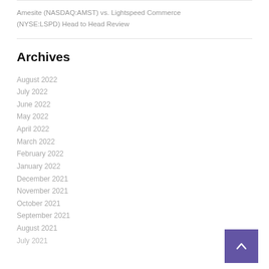Amesite (NASDAQ:AMST) vs. Lightspeed Commerce (NYSE:LSPD) Head to Head Review
Archives
August 2022
July 2022
June 2022
May 2022
April 2022
March 2022
February 2022
January 2022
December 2021
November 2021
October 2021
September 2021
August 2021
July 2021